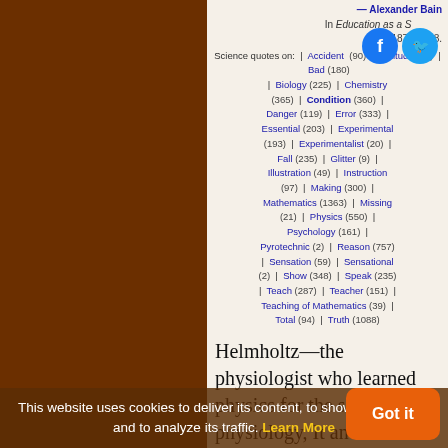— Alexander Bain
In Education as a Science (1879), 298.
Science quotes on: | Accident (90) | Aptitude (19) | Bad (180) | Biology (225) | Chemistry (365) | Condition (360) | Danger (119) | Error (333) | Essential (203) | Experimental (193) | Experimentalist (20) | Fall (235) | Glitter (9) | Illustration (49) | Instruction (97) | Making (300) | Mathematics (1363) | Missing (21) | Physics (550) | Psychology (161) | Pyrotechnic (2) | Reason (757) | Sensation (59) | Sensational (2) | Show (348) | Speak (235) | Teach (287) | Teacher (151) | Teaching of Mathematics (39) | Total (94) | Truth (1088)
Helmholtz—the physiologist who learned physics for the sake of his physiology, It and mathematics for the